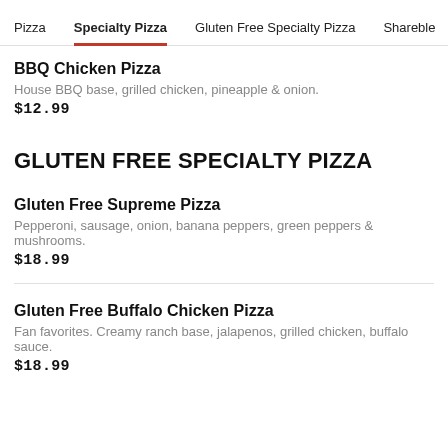Pizza | Specialty Pizza | Gluten Free Specialty Pizza | Sharebles
BBQ Chicken Pizza
House BBQ base, grilled chicken, pineapple & onion.
$12.99
GLUTEN FREE SPECIALTY PIZZA
Gluten Free Supreme Pizza
Pepperoni, sausage, onion, banana peppers, green peppers & mushrooms.
$18.99
Gluten Free Buffalo Chicken Pizza
Fan favorites. Creamy ranch base, jalapenos, grilled chicken, buffalo sauce.
$18.99